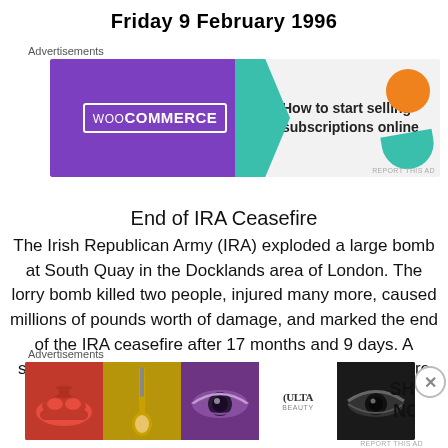Friday 9 February 1996
[Figure (other): WooCommerce advertisement banner: purple background with WooCommerce logo on the left, teal arrow shape in the middle, and text 'How to start selling subscriptions online' on grey right side with orange and teal decorative shapes]
End of IRA Ceasefire
The Irish Republican Army (IRA) exploded a large bomb at South Quay in the Docklands area of London. The lorry bomb killed two people, injured many more, caused millions of pounds worth of damage, and marked the end of the IRA ceasefire after 17 months and 9 days. A statement had been issued by the IRA one hour before the
[Figure (other): Ulta Beauty advertisement banner showing cosmetic closeup photos (lips with red lipstick, makeup brush, eye with eyeshadow, Ulta logo, dark eye makeup) with 'SHOP NOW' text on white background]